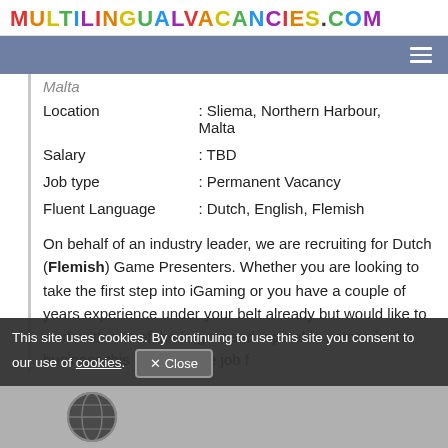MULTILINGUALVACANCIES.COM
Malta
| Location | : Sliema, Northern Harbour, Malta |
| Salary | : TBD |
| Job type | : Permanent Vacancy |
| Fluent Language | : Dutch, English, Flemish |
On behalf of an industry leader, we are recruiting for Dutch (Flemish) Game Presenters. Whether you are looking to take the first step into iGaming or you have a couple of years experience under your belt already but would like to work with one of the largest and reputable names in the business this might be the job f
This site uses cookies. By continuing to use this site you consent to our use of cookies.